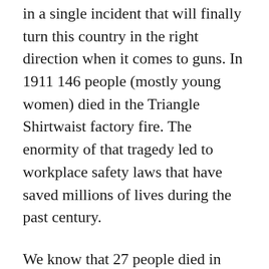in a single incident that will finally turn this country in the right direction when it comes to guns. In 1911 146 people (mostly young women) died in the Triangle Shirtwaist factory fire. The enormity of that tragedy led to workplace safety laws that have saved millions of lives during the past century.
We know that 27 people died in Newtown. We know that 32 people were slaughtered at Virginia Tech. We know the numbers in Columbine and Aurora and in the streets of urban America. John Kennedy,